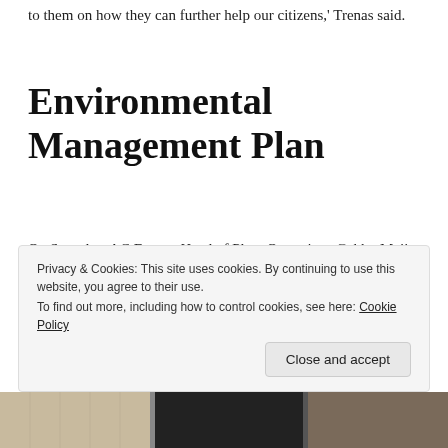to them on how they can further help our citizens,' Trenas said.
Environmental Management Plan
On Saturday, AC Energy Head of Plant Operations Gabby Mejia together with representatives of AECOM Philippines met with Guimaras Governor Samuel T. Gumarin and Vice Governor Atty. John Edward G. Gando to discuss the environmental management plan (EMP).
Privacy & Cookies: This site uses cookies. By continuing to use this website, you agree to their use. To find out more, including how to control cookies, see here: Cookie Policy
[Figure (photo): Photo strip at bottom of page showing people or a building interior]